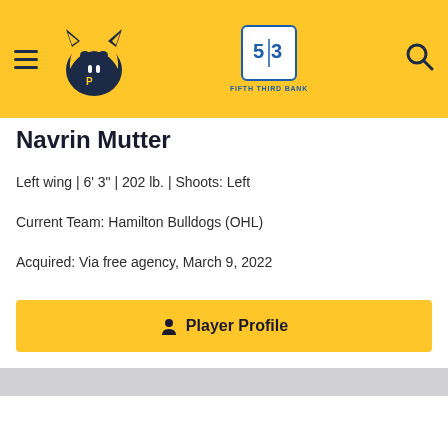Nashville Predators / Fifth Third Bank — site navigation header
Navrin Mutter
Left wing | 6' 3" | 202 lb. | Shoots: Left
Current Team: Hamilton Bulldogs (OHL)
Acquired: Via free agency, March 9, 2022
Player Profile